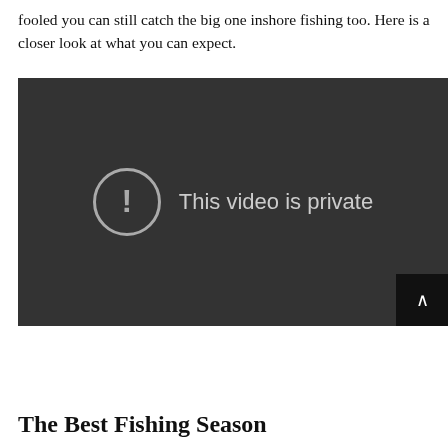fooled you can still catch the big one inshore fishing too. Here is a closer look at what you can expect.
[Figure (screenshot): Embedded video player showing 'This video is private' error message with exclamation mark icon on dark background]
The Best Fishing Season